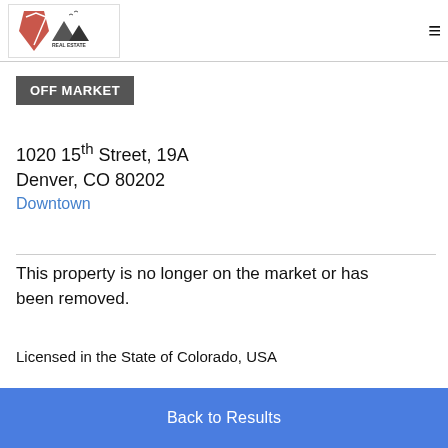Cunningham Real Estate logo and navigation menu
OFF MARKET
1020 15th Street, 19A
Denver, CO 80202
Downtown
This property is no longer on the market or has been removed.
Licensed in the State of Colorado, USA
The content relating to real estate for sale in this Web site
Back to Results